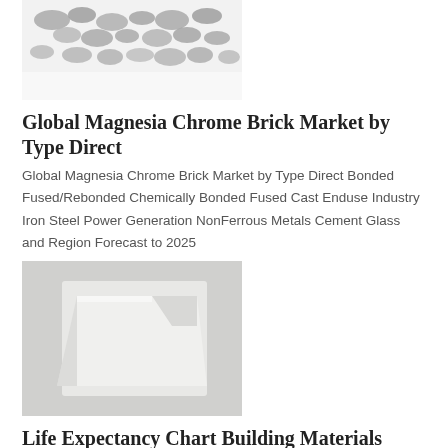[Figure (photo): Photo of grey granular aggregate or ore material on a white background]
Global Magnesia Chrome Brick Market by Type Direct
Global Magnesia Chrome Brick Market by Type Direct Bonded Fused/Rebonded Chemically Bonded Fused Cast Enduse Industry Iron Steel Power Generation NonFerrous Metals Cement Glass and Region Forecast to 2025
[Figure (photo): Photo of a white shaped refractory brick or block on a grey concrete surface]
Life Expectancy Chart Building Materials Comparables
2022328 75+ Gypsum 75 Wood Paneling 20 to 50